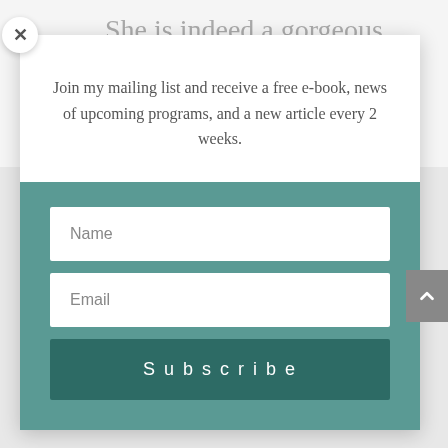She is indeed a gorgeous young woman. How exciting for you and her! Thank you for
Join my mailing list and receive a free e-book, news of upcoming programs, and a new article every 2 weeks.
Name
Email
Subscribe